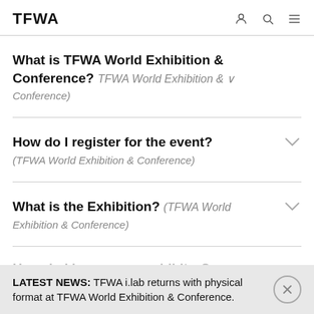TFWA
What is TFWA World Exhibition & Conference? (TFWA World Exhibition & Conference)
How do I register for the event? (TFWA World Exhibition & Conference)
What is the Exhibition? (TFWA World Exhibition & Conference)
LATEST NEWS: TFWA i.lab returns with physical format at TFWA World Exhibition & Conference.